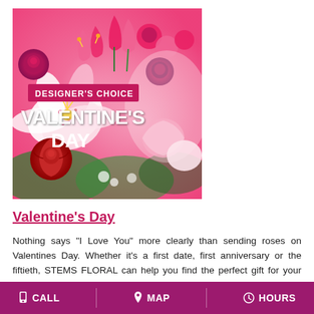[Figure (photo): Floral arrangement photo with 'Designer's Choice Valentine's Day' text overlay on a pink/red flower bouquet background]
Valentine's Day
Nothing says "I Love You" more clearly than sending roses on Valentines Day. Whether it's a first date, first anniversary or the fiftieth, STEMS FLORAL can help you find the perfect gift for your sweetheart on this Day of Love.
CALL   MAP   HOURS